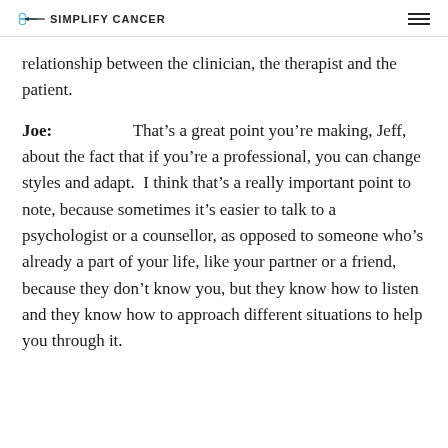SIMPLIFY CANCER
relationship between the clinician, the therapist and the patient.
Joe: That’s a great point you’re making, Jeff, about the fact that if you’re a professional, you can change styles and adapt. I think that’s a really important point to note, because sometimes it’s easier to talk to a psychologist or a counsellor, as opposed to someone who’s already a part of your life, like your partner or a friend, because they don’t know you, but they know how to listen and they know how to approach different situations to help you through it.